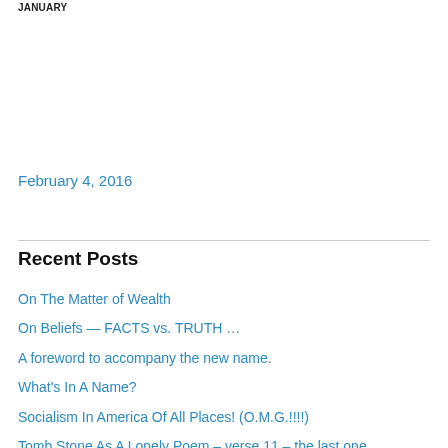JANUARY
February 4, 2016
Recent Posts
On The Matter of Wealth
On Beliefs — FACTS vs. TRUTH …
A foreword to accompany the new name.
What's In A Name?
Socialism In America Of All Places! (O.M.G.!!!!)
Tomb Stone As A Lonely Poem – verse 11 – the last one
Tomb Stone As A Lonely Poem – verse 10…